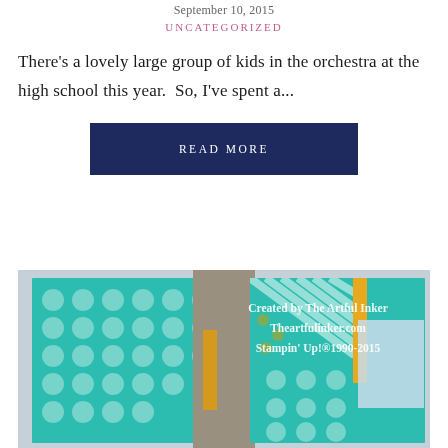September 10, 2015
UNCATEGORIZED
There's a lovely large group of kids in the orchestra at the high school this year.  So, I've spent a...
READ MORE
[Figure (photo): Handmade craft cards featuring teal/turquoise patterned paper with polka dots and stripes, gold/yellow accents, gray card base, and light blue elements. Watermark reads: Created by The Artful Inker / Theartfulinker.com / Stampin' Up!®1990-2015]